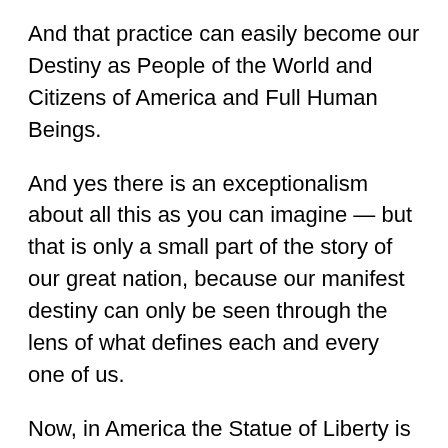And that practice can easily become our Destiny as People of the World and Citizens of America and Full Human Beings.
And yes there is an exceptionalism about all this as you can imagine — but that is only a small part of the story of our great nation, because our manifest destiny can only be seen through the lens of what defines each and every one of us.
Now, in America the Statue of Liberty is a defining monument that speaks of our Civilization as an example of Love towards all the immigrants and the huddled masses as seen in the way that was represented through this gift from France to America, commemorating the two nations' amity, comradeship in the Revolutionary war, and the